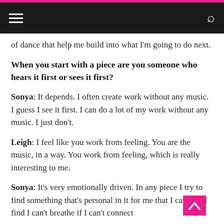Navigation bar with hamburger menu and search icon
of dance that help me build into what I'm going to do next.
When you start with a piece are you someone who hears it first or sees it first?
Sonya: It depends. I often create work without any music. I guess I see it first. I can do a lot of my work without any music. I just don't.
Leigh: I feel like you work from feeling. You are the music, in a way. You work from feeling, which is really interesting to me.
Sonya: It's very emotionally driven. In any piece I try to find something that's personal in it for me that I can use. I find I can't breathe if I can't connect